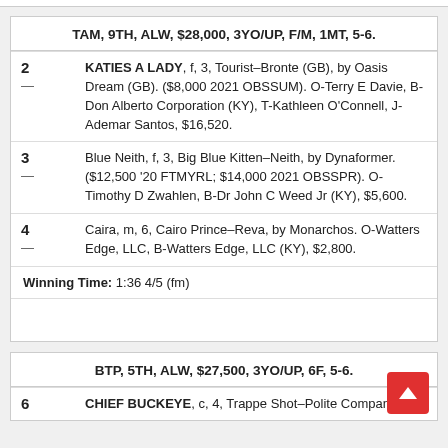TAM, 9TH, ALW, $28,000, 3YO/UP, F/M, 1MT, 5-6.
2 — KATIES A LADY, f, 3, Tourist–Bronte (GB), by Oasis Dream (GB). ($8,000 2021 OBSSUM). O-Terry E Davie, B-Don Alberto Corporation (KY), T-Kathleen O'Connell, J-Ademar Santos, $16,520.
3 — Blue Neith, f, 3, Big Blue Kitten–Neith, by Dynaformer. ($12,500 '20 FTMYRL; $14,000 2021 OBSSPR). O-Timothy D Zwahlen, B-Dr John C Weed Jr (KY), $5,600.
4 — Caira, m, 6, Cairo Prince–Reva, by Monarchos. O-Watters Edge, LLC, B-Watters Edge, LLC (KY), $2,800.
Winning Time: 1:36 4/5 (fm)
BTP, 5TH, ALW, $27,500, 3YO/UP, 6F, 5-6.
6 — CHIEF BUCKEYE, c, 4, Trappe Shot–Polite Company, by